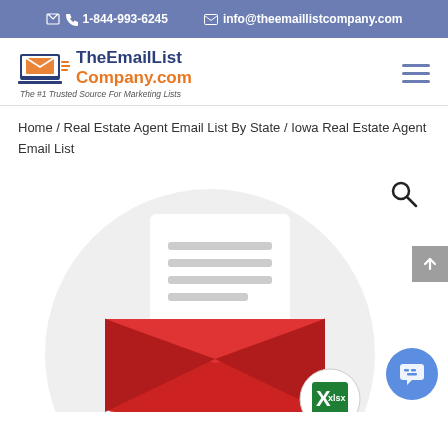1-844-993-6245   info@theemaillistcompany.com
[Figure (logo): TheEmailListCompany.com logo with envelope icon and tagline 'The #1 Trusted Source For Marketing Lists']
Home / Real Estate Agent Email List By State / Iowa Real Estate Agent Email List
[Figure (illustration): Illustration of an open red envelope with a white letter/document inside, on a light gray circular background, with an Excel-like spreadsheet icon at the bottom right. A search magnifier icon appears top right. A back-to-top arrow button on the right edge and a blue chat bubble button at bottom right.]